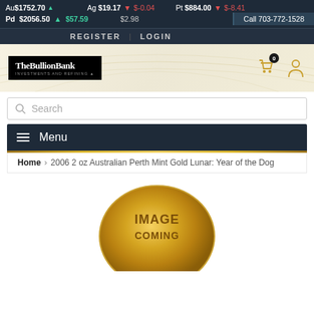Au$1752.70 ▲ $2.98   Ag $19.17 ▼ $-0.04   Pt $884.00 ▼ $-8.41   Pd $2056.50 ▲ $57.59   Call 703-772-1528
REGISTER   LOGIN
[Figure (logo): TheBullionBank logo — white text on black background, subtitle: investments and refining]
Search
Menu
Home > 2006 2 oz Australian Perth Mint Gold Lunar: Year of the Dog
[Figure (photo): Gold coin placeholder — circular gold coin with text IMAGE COMING (partially visible)]